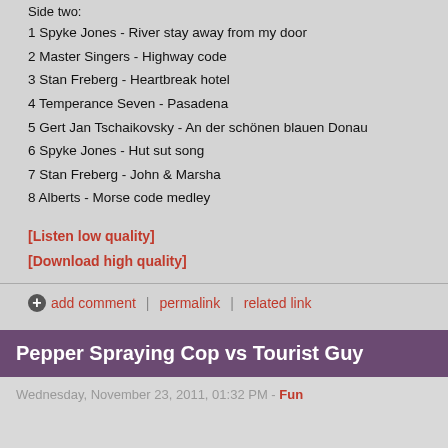Side two:
1 Spyke Jones - River stay away from my door
2 Master Singers - Highway code
3 Stan Freberg - Heartbreak hotel
4 Temperance Seven - Pasadena
5 Gert Jan Tschaikovsky - An der schönen blauen Donau
6 Spyke Jones - Hut sut song
7 Stan Freberg - John & Marsha
8 Alberts - Morse code medley
[Listen low quality]
[Download high quality]
add comment  |  permalink  |  related link
Pepper Spraying Cop vs Tourist Guy
Wednesday, November 23, 2011, 01:32 PM - Fun